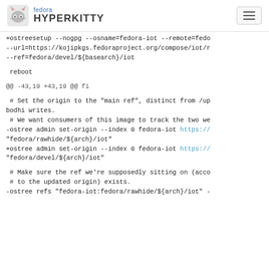fedora HYPERKITTY
+ostreesetup --nogpg --osname=fedora-iot --remote=fedo
--url=https://kojipkgs.fedoraproject.org/compose/iot/r
--ref=fedora/devel/${basearch}/iot

 reboot

@@ -43,19 +43,19 @@ fi

 # Set the origin to the "main ref", distinct from /up
bodhi writes.
 # We want consumers of this image to track the two we
-ostree admin set-origin --index 0 fedora-iot https://
"fedora/rawhide/${arch}/iot"
+ostree admin set-origin --index 0 fedora-iot https://
"fedora/devel/${arch}/iot"

 # Make sure the ref we're supposedly sitting on (acco
 # to the updated origin) exists.
-ostree refs "fedora-iot:fedora/rawhide/${arch}/iot" -